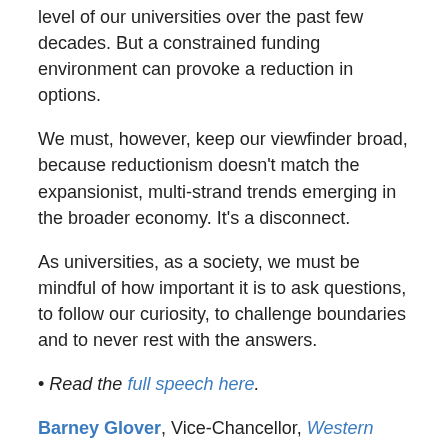level of our universities over the past few decades. But a constrained funding environment can provoke a reduction in options.
We must, however, keep our viewfinder broad, because reductionism doesn't match the expansionist, multi-strand trends emerging in the broader economy. It's a disconnect.
As universities, as a society, we must be mindful of how important it is to ask questions, to follow our curiosity, to challenge boundaries and to never rest with the answers.
• Read the full speech here.
Barney Glover, Vice-Chancellor, Western Sydney University
This article was originally published on The Conversation. (Reblogged by permission). Read the original article